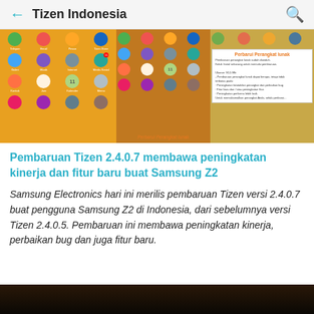← Tizen Indonesia 🔍
[Figure (screenshot): Three smartphone screenshots showing Tizen OS home screen with app icons, and a software update dialog 'Perbarui Perangkat lunak']
Perbarui Perangkat lunak
Pembaruan Tizen 2.4.0.7 membawa peningkatan kinerja dan fitur baru buat Samsung Z2
Samsung Electronics hari ini merilis pembaruan Tizen versi 2.4.0.7 buat pengguna Samsung Z2 di Indonesia, dari sebelumnya versi Tizen 2.4.0.5. Pembaruan ini membawa peningkatan kinerja, perbaikan bug dan juga fitur baru.
[Figure (photo): Dark bottom strip image, possibly a crowd or indoor venue photo]